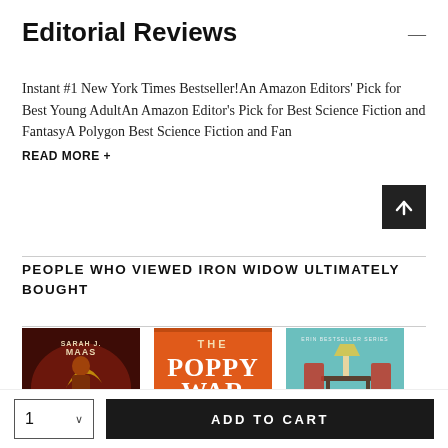Editorial Reviews
Instant #1 New York Times Bestseller!An Amazon Editors' Pick for Best Young AdultAn Amazon Editor's Pick for Best Science Fiction and FantasyA Polygon Best Science Fiction and Fan
READ MORE +
PEOPLE WHO VIEWED IRON WIDOW ULTIMATELY BOUGHT
[Figure (illustration): Book cover: House of Earth and Blood by Sarah J. Maas (Crescent City series) — dark red/brown cover with a woman and crescent moon]
[Figure (illustration): Book cover: The Poppy War by R.F. Kuang — orange cover with a figure]
[Figure (illustration): Book cover: Before the Coffee Gets Cold — teal/blue cover with chairs and a cat]
ADD TO CART